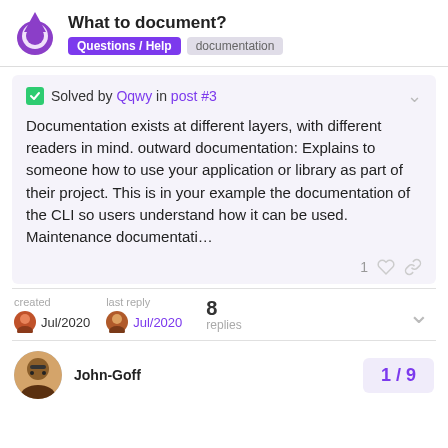What to document? | Questions / Help | documentation
✓ Solved by Qqwy in post #3
Documentation exists at different layers, with different readers in mind. outward documentation: Explains to someone how to use your application or library as part of their project. This is in your example the documentation of the CLI so users understand how it can be used. Maintenance documentati…
created Jul/2020 | last reply Jul/2020 | 8 replies
John-Goff
1 / 9